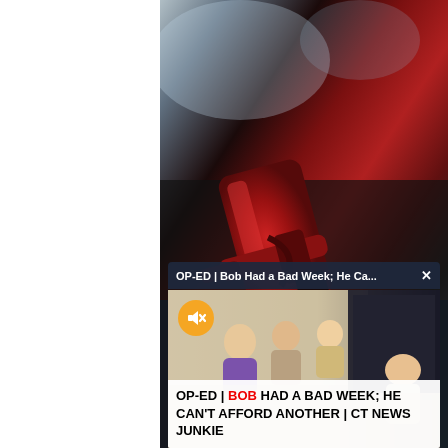[Figure (photo): Close-up photo of a person's hand holding a red gas pump nozzle inserted into a vehicle, dark background with blurred gas station environment]
OP-ED | Bob Had a Bad Week; He Ca...  ×
[Figure (screenshot): Video thumbnail showing elderly people gathered in an indoor setting, with a yellow mute icon circle in the top left corner]
OP-ED | BOB HAD A BAD WEEK; HE CAN'T AFFORD ANOTHER | CT NEWS JUNKIE